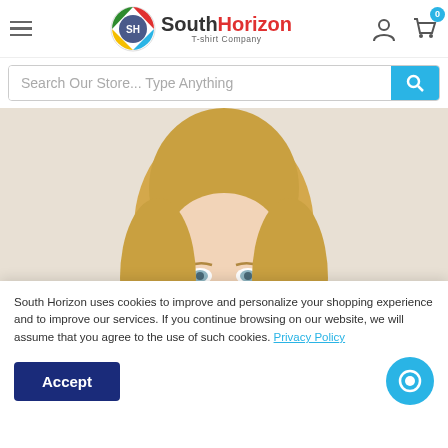[Figure (logo): South Horizon T-shirt Company logo with colorful circular SH icon]
Search Our Store... Type Anything
[Figure (photo): Portrait photo of a blonde woman looking at the camera]
South Horizon uses cookies to improve and personalize your shopping experience and to improve our services. If you continue browsing on our website, we will assume that you agree to the use of such cookies. Privacy Policy
Accept